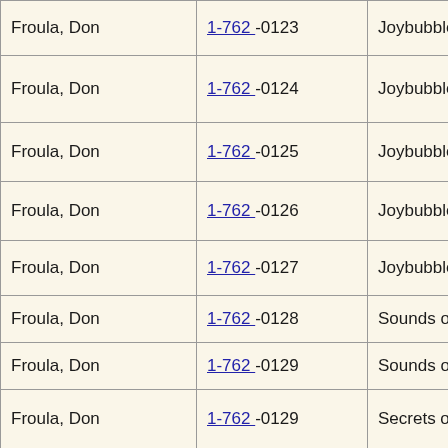| Name | Case Number | Title |
| --- | --- | --- |
| Froula, Don | 1-762 -0123 | Joybubbles, |
| Froula, Don | 1-762 -0124 | Joybubbles, |
| Froula, Don | 1-762 -0125 | Joybubbles T |
| Froula, Don | 1-762 -0126 | Joybubbles t |
| Froula, Don | 1-762 -0127 | Joybubbles T |
| Froula, Don | 1-762 -0128 | Sounds of L |
| Froula, Don | 1-762 -0129 | Sounds of L |
| Froula, Don | 1-762 -0129 | Secrets of th |
| Froula, Don | 1-762 -0130 | Sounds of L |
| Froula, Don | 1-762 -0131 | Free411 |
| Froula, Don | 1-762 -0132 | Sounds of L |
| Froula, Don | 1-762 -0133 | Sounds of L |
|  |  |  |